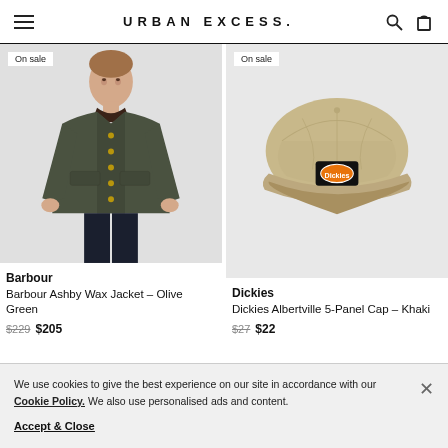URBAN EXCESS.
[Figure (photo): Man wearing a Barbour Ashby Wax Jacket in Olive Green, shown from waist up against grey background. 'On sale' badge in top left corner.]
[Figure (photo): Dickies Albertville 5-Panel Cap in Khaki shown on grey background. 'On sale' badge in top left corner.]
Barbour
Barbour Ashby Wax Jacket – Olive Green
$229  $205
Dickies
Dickies Albertville 5-Panel Cap – Khaki
$27  $22
We use cookies to give the best experience on our site in accordance with our Cookie Policy. We also use personalised ads and content.
Accept & Close